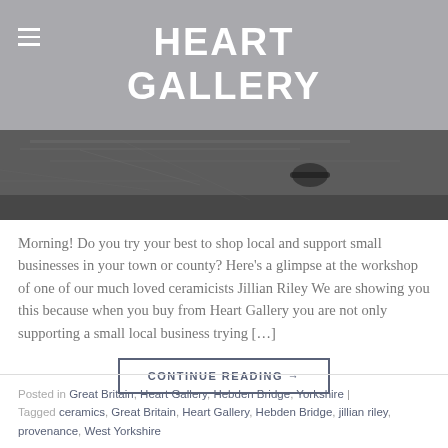HEART GALLERY
[Figure (photo): Black and white photo of a ceramics workshop surface with tools]
Morning! Do you try your best to shop local and support small businesses in your town or county? Here’s a glimpse at the workshop of one of our much loved ceramicists Jillian Riley We are showing you this because when you buy from Heart Gallery you are not only supporting a small local business trying […]
CONTINUE READING →
Posted in Great Britain, Heart Gallery, Hebden Bridge, Yorkshire | Tagged ceramics, Great Britain, Heart Gallery, Hebden Bridge, jillian riley, provenance, West Yorkshire